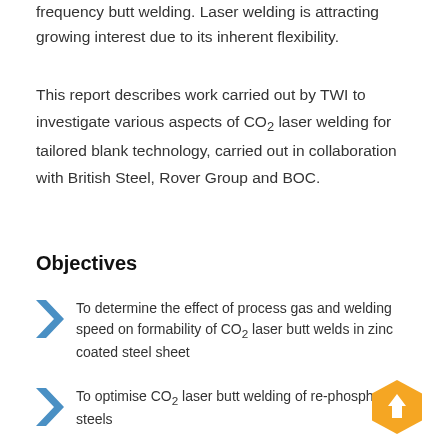frequency butt welding. Laser welding is attracting growing interest due to its inherent flexibility.
This report describes work carried out by TWI to investigate various aspects of CO₂ laser welding for tailored blank technology, carried out in collaboration with British Steel, Rover Group and BOC.
Objectives
To determine the effect of process gas and welding speed on formability of CO₂ laser butt welds in zinc coated steel sheet
To optimise CO₂ laser butt welding of re-phosphorised steels